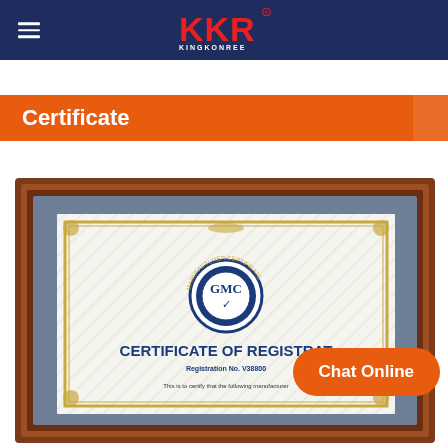KKR KINGKONREE
Certificate
[Figure (photo): A framed GMC (Global Manufacturer Certificate) Certificate of Registration document with decorative gold border, showing Registration No. V38800... and text 'This is to certify that the following manufacturer...' The frame is wooden brown with a blue-gray mat.]
Chat Online